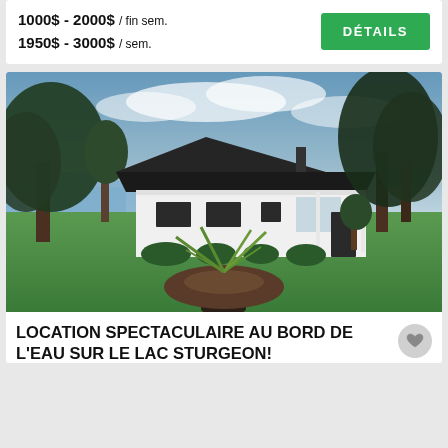1000$ - 2000$ / fin sem.
1950$ - 3000$ / sem.
DÉTAILS
[Figure (photo): Exterior photo of a white bungalow-style house with a large green lawn, mature trees, and a decorative potted plant in the foreground; lake visible in the background on the left.]
LOCATION SPECTACULAIRE AU BORD DE L'EAU SUR LE LAC STURGEON!